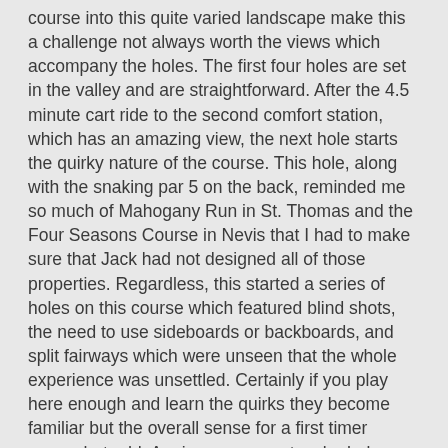course into this quite varied landscape make this a challenge not always worth the views which accompany the holes. The first four holes are set in the valley and are straightforward. After the 4.5 minute cart ride to the second comfort station, which has an amazing view, the next hole starts the quirky nature of the course. This hole, along with the snaking par 5 on the back, reminded me so much of Mahogany Run in St. Thomas and the Four Seasons Course in Nevis that I had to make sure that Jack had not designed all of those properties. Regardless, this started a series of holes on this course which featured blind shots, the need to use sideboards or backboards, and split fairways which were unseen that the whole experience was unsettled. Certainly if you play here enough and learn the quirks they become familiar but the overall sense for a first timer somewhat odd. Again, some spectacular holes along the ocean (although many of them were quirky) and commanding views from holes 5 and on. The comfort stations were great. Not the best in the area as I believe that Diamante has a better food and liquor selection but certainly places to linger and enjoy the scenery and company. Overall this course is definitely worth playing once, perhaps more if you can get off peak rates, or if you just want a great day of fantastic views and are willing to sacrifice some golf balls to the unseen shots in front of you.